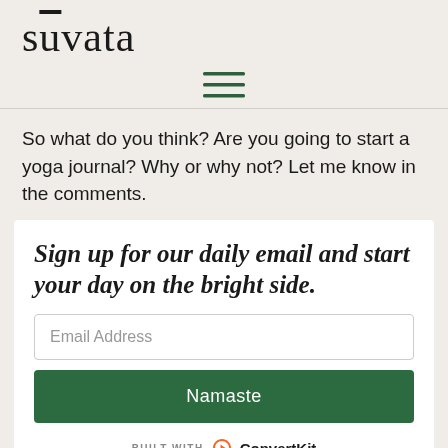sūvata
So what do you think? Are you going to start a yoga journal? Why or why not? Let me know in the comments.
Sign up for our daily email and start your day on the bright side.
Email Address
Namaste
BUILT WITH ConvertKit